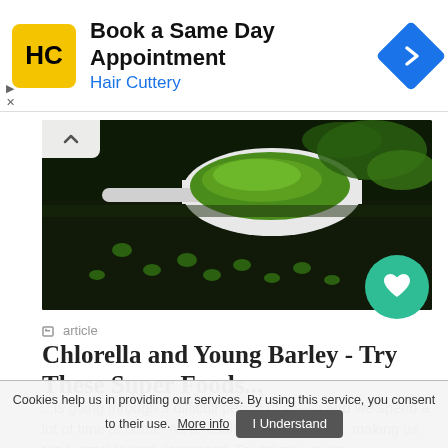[Figure (logo): Hair Cuttery advertisement banner with HC logo, text 'Book a Same Day Appointment' and 'Hair Cuttery', and a blue navigation arrow icon]
[Figure (photo): Photo of green chlorella/barley powder on a white spoon surrounded by green tablets and herbs on a dark background]
article
Chlorella and Young Barley - Try These Super Foods...
...is going through a difficult period of stress and we spend a lot of time at home. As a result, ... in our bodies, making us tired, irritable and depressed. Try taking young
Cookies help us in providing our services. By using this service, you consent to their use. More info  I Understand